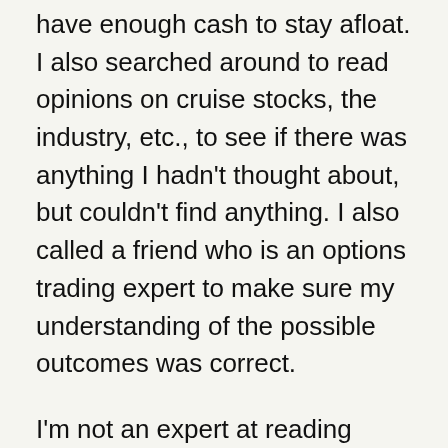have enough cash to stay afloat. I also searched around to read opinions on cruise stocks, the industry, etc., to see if there was anything I hadn't thought about, but couldn't find anything. I also called a friend who is an options trading expert to make sure my understanding of the possible outcomes was correct.
I'm not an expert at reading balance sheets or understanding big companies, so I assumed that there was about a 20% chance I was missing something despite my research.